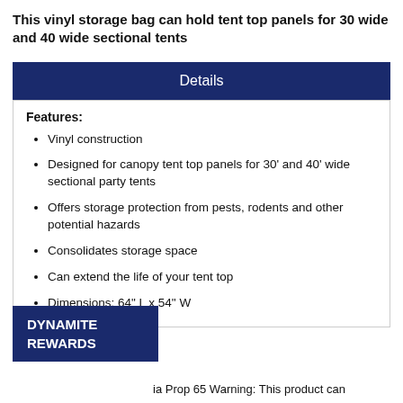This vinyl storage bag can hold tent top panels for 30 wide and 40 wide sectional tents
Details
Features:
Vinyl construction
Designed for canopy tent top panels for 30' and 40' wide sectional party tents
Offers storage protection from pests, rodents and other potential hazards
Consolidates storage space
Can extend the life of your tent top
Dimensions: 64" L x 54" W
[Figure (other): DYNAMITE REWARDS badge overlay in dark navy blue]
ia Prop 65 Warning: This product can